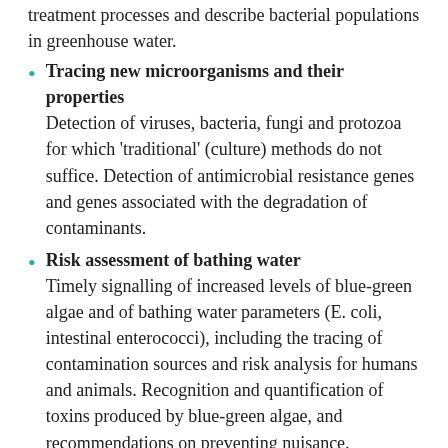treatment processes and describe bacterial populations in greenhouse water.
Tracing new microorganisms and their properties Detection of viruses, bacteria, fungi and protozoa for which 'traditional' (culture) methods do not suffice. Detection of antimicrobial resistance genes and genes associated with the degradation of contaminants.
Risk assessment of bathing water Timely signalling of increased levels of blue-green algae and of bathing water parameters (E. coli, intestinal enterococci), including the tracing of contamination sources and risk analysis for humans and animals. Recognition and quantification of toxins produced by blue-green algae, and recommendations on preventing nuisance.
Environmental DNA (eDNA) Analysis of DNA from traces of macro fauna and